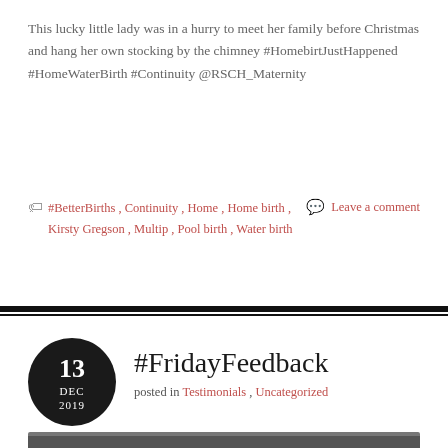This lucky little lady was in a hurry to meet her family before Christmas and hang her own stocking by the chimney #HomebirtJustHappened #HomeWaterBirth #Continuity @RSCH_Maternity
#BetterBirths , Continuity , Home , Home birth , Kirsty Gregson , Multip , Pool birth , Water birth | Leave a comment
#FridayFeedback
posted in Testimonials , Uncategorized
[Figure (photo): Black and white photo partially visible at the bottom of the page, showing what appears to be a person]